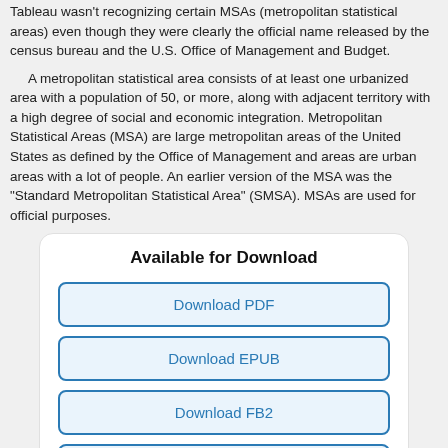Tableau wasn't recognizing certain MSAs (metropolitan statistical areas) even though they were clearly the official name released by the census bureau and the U.S. Office of Management and Budget.
A metropolitan statistical area consists of at least one urbanized area with a population of 50, or more, along with adjacent territory with a high degree of social and economic integration. Metropolitan Statistical Areas (MSA) are large metropolitan areas of the United States as defined by the Office of Management and areas are urban areas with a lot of people. An earlier version of the MSA was the "Standard Metropolitan Statistical Area" (SMSA). MSAs are used for official purposes.
Available for Download
Download PDF
Download EPUB
Download FB2
Download MOBI
Download TXT